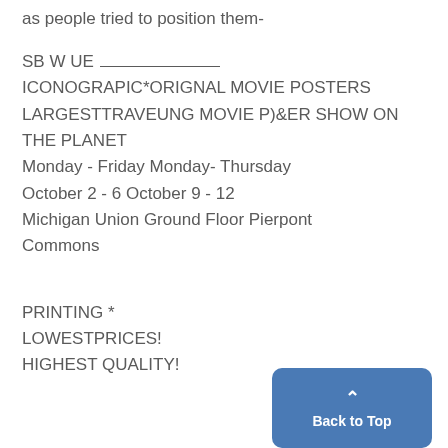as people tried to position them-
SB W UE ___________
ICONOGRAPIC*ORIGNAL MOVIE POSTERS
LARGESTTRAVEUNG MOVIE P)&ER SHOW ON THE PLANET
Monday - Friday Monday- Thursday
October 2 - 6 October 9 - 12
Michigan Union Ground Floor Pierpont Commons
PRINTING *
LOWESTRICES!
HIGHEST QUALITY!